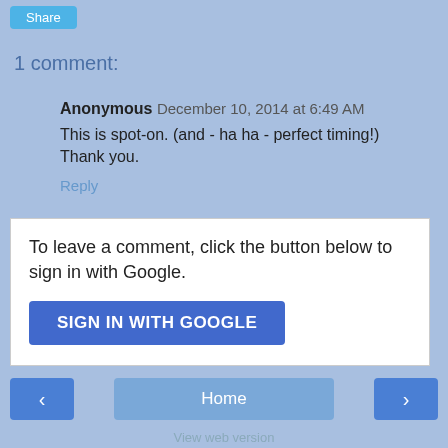Share
1 comment:
Anonymous December 10, 2014 at 6:49 AM
This is spot-on. (and - ha ha - perfect timing!) Thank you.
Reply
To leave a comment, click the button below to sign in with Google.
SIGN IN WITH GOOGLE
Home
View web version
Powered by Blogger.